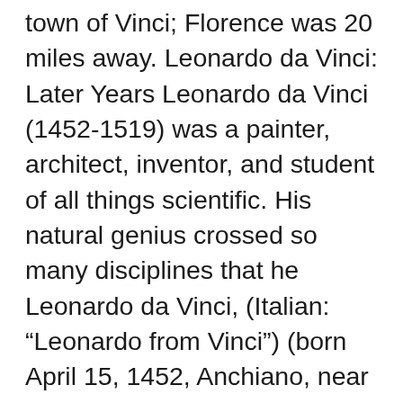town of Vinci; Florence was 20 miles away. Leonardo da Vinci: Later Years Leonardo da Vinci (1452-1519) was a painter, architect, inventor, and student of all things scientific. His natural genius crossed so many disciplines that he Leonardo da Vinci, (Italian: “Leonardo from Vinci”) (born April 15, 1452, Anchiano, near Vinci, Republic of Florence [Italy]—died May 2, 1519, Cloux [now Clos-Lucé], France), Italian painter, draftsman, sculptor, architect, and engineer whose skill and intelligence, perhaps more than that of any other figure, epitomized the Renaissance humanist ideal. Leonardo da Vinci was a Renaissance painter, sculptor, architect, inventor, military engineer and draftsman — the epitome of a true Renaissance man. Gifted with a curious mind and a brilliant Leonardo da Vinci was a true genius who graced